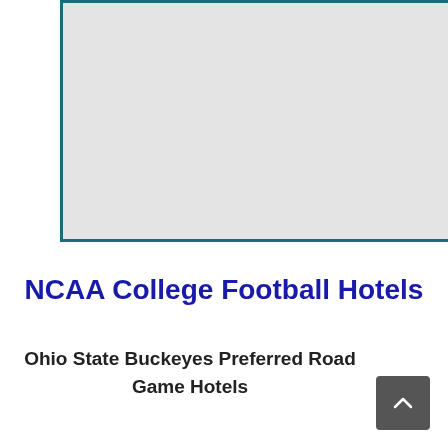[Figure (map): A map placeholder area with light gray background and teal/dark blue border, showing a partial map view]
NCAA College Football Hotels
Ohio State Buckeyes Preferred Road Game Hotels